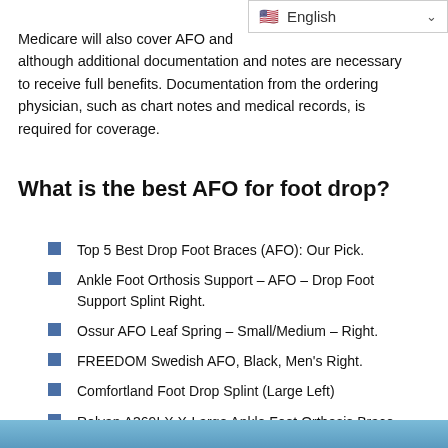[Figure (other): Language selector widget showing English with US flag and dropdown chevron]
Medicare will also cover AFO and although additional documentation and notes are necessary to receive full benefits. Documentation from the ordering physician, such as chart notes and medical records, is required for coverage.
What is the best AFO for foot drop?
Top 5 Best Drop Foot Braces (AFO): Our Pick.
Ankle Foot Orthosis Support – AFO – Drop Foot Support Splint Right.
Ossur AFO Leaf Spring – Small/Medium – Right.
FREEDOM Swedish AFO, Black, Men's Right.
Comfortland Foot Drop Splint (Large Left)
Rolyan A369LX X-Large Ankle Foot Orthosis Brace.
[Figure (photo): Partial photo visible at bottom of page, appears to be an AFO or foot brace product image]